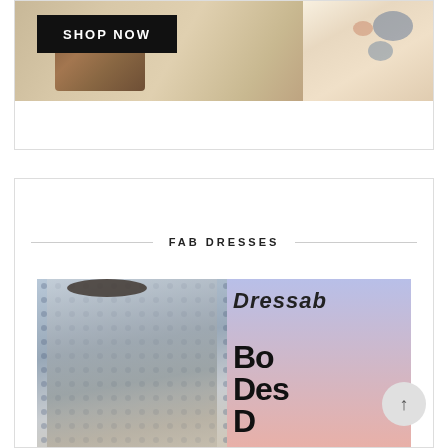[Figure (photo): Fashion photo with 'SHOP NOW' banner overlay showing women in floral dresses with a brown handbag]
FAB DRESSES
[Figure (photo): Woman wearing a blue polka dot dress, with a purple-to-pink gradient panel on the right showing text 'Dressab' and 'Bo Des' in bold letters]